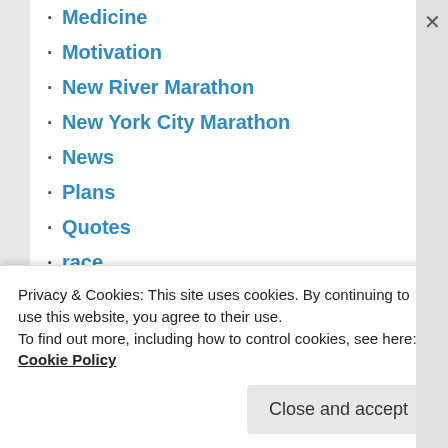Medicine
Motivation
New River Marathon
New York City Marathon
News
Plans
Quotes
race
Race Discount
Race Recap
racing
Raleigh
recovery
Running
Santa
Privacy & Cookies: This site uses cookies. By continuing to use this website, you agree to their use.
To find out more, including how to control cookies, see here: Cookie Policy
Close and accept